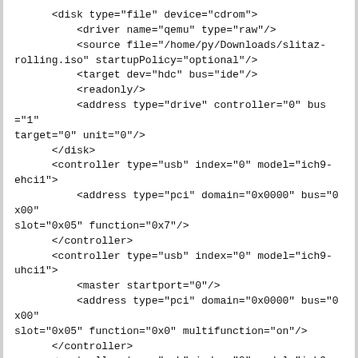<disk type="file" device="cdrom">
        <driver name="qemu" type="raw"/>
        <source file="/home/py/Downloads/slitaz-rolling.iso" startupPolicy="optional"/>
        <target dev="hdc" bus="ide"/>
        <readonly/>
        <address type="drive" controller="0" bus="1" target="0" unit="0"/>
    </disk>
    <controller type="usb" index="0" model="ich9-ehci1">
        <address type="pci" domain="0x0000" bus="0x00" slot="0x05" function="0x7"/>
    </controller>
    <controller type="usb" index="0" model="ich9-uhci1">
        <master startport="0"/>
        <address type="pci" domain="0x0000" bus="0x00" slot="0x05" function="0x0" multifunction="on"/>
    </controller>
    <controller type="usb" index="0" model="ich9-uhci2">
        <master startport="2"/>
        <address type="pci" domain="0x0000" bus="0x00" slot="0x05" function="0x1"/>
    </controller>
    <controller type="usb" index="0" model="ich9-uhci3">
        <master startport="4"/>
        <address type="pci" domain="0x0000" bus="0x00"